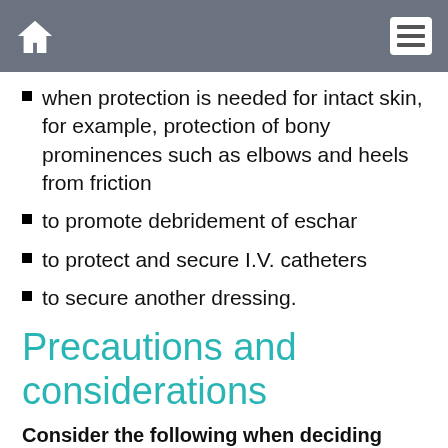when protection is needed for intact skin, for example, protection of bony prominences such as elbows and heels from friction
to promote debridement of eschar
to protect and secure I.V. catheters
to secure another dressing.
Precautions and considerations
Consider the following when deciding whether to choose this type of dressing:
A transparent film dressing won't adhere to a moist surface because its adhesive properties are deactivated